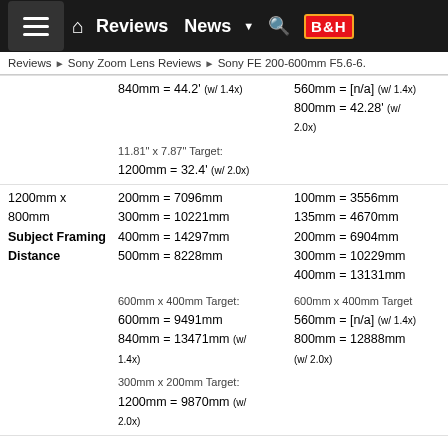Reviews | Sony Zoom Lens Reviews | Sony FE 200-600mm F5.6-6.3
840mm = 44.2' (w/ 1.4x)   560mm = [n/a] (w/ 1.4x)
800mm = 42.28' (w/ 2.0x)
11.81" x 7.87" Target: 1200mm = 32.4' (w/ 2.0x)
|  | Sony FE 200-600mm | Sony FE 100-400mm |
| --- | --- | --- |
| 1200mm x 800mm Subject Framing Distance | 200mm = 7096mm
300mm = 10221mm
400mm = 14297mm
500mm = 8228mm
600mm x 400mm Target:
600mm = 9491mm
840mm = 13471mm (w/ 1.4x)
300mm x 200mm Target:
1200mm = 9870mm (w/ 2.0x) | 100mm = 3556mm
135mm = 4670mm
200mm = 6904mm
300mm = 10229mm
400mm = 13131mm
600mm x 400mm Target
560mm = [n/a] (w/ 1.4x)
800mm = 12888mm (w/ 2.0x) |
| Review | Sony FE 200-600mm | Sony FE 100-400mm |